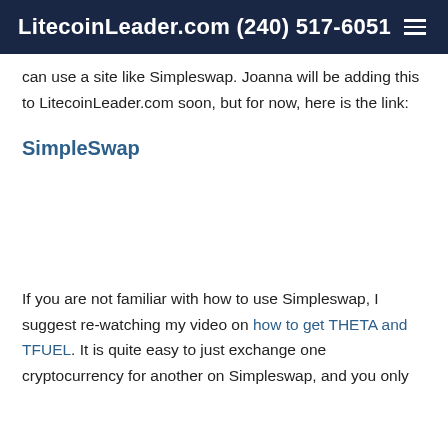LitecoinLeader.com (240) 517-6051
can use a site like Simpleswap.  Joanna will be adding this to LitecoinLeader.com soon, but for now, here is the link:
SimpleSwap
If you are not familiar with how to use Simpleswap, I suggest re-watching my video on how to get THETA and TFUEL.  It is quite easy to just exchange one cryptocurrency for another on Simpleswap, and you only